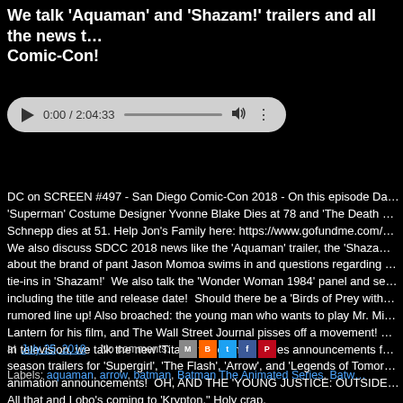We talk 'Aquaman' and 'Shazam!' trailers and all the news t… Comic-Con!
[Figure (other): Audio player widget showing 0:00 / 2:04:33 with play button, progress bar, volume and options icons]
DC on SCREEN #497 - San Diego Comic-Con 2018 - On this episode Da… 'Superman' Costume Designer Yvonne Blake Dies at 78 and 'The Death … Schnepp dies at 51. Help Jon's Family here: https://www.gofundme.com/… We also discuss SDCC 2018 news like the 'Aquaman' trailer, the 'Shaza… about the brand of pant Jason Momoa swims in and questions regarding … tie-ins in 'Shazam!' We also talk the 'Wonder Woman 1984' panel and se… including the title and release date! Should there be a 'Birds of Prey with… rumored line up! Also broached: the young man who wants to play Mr. Mi… Lantern for his film, and The Wall Street Journal pisses off a movement! … In television, we talk the new 'Titans' trailer, new series announcements f… season trailers for 'Supergirl', 'The Flash', 'Arrow', and 'Legends of Tomor… animation announcements! OH, AND THE 'YOUNG JUSTICE: OUTSIDE… All that and Lobo's coming to 'Krypton.' Holy crap.
at July 25, 2018   No comments:
Labels: aquaman, arrow, batman, Batman The Animated Series, Batw…